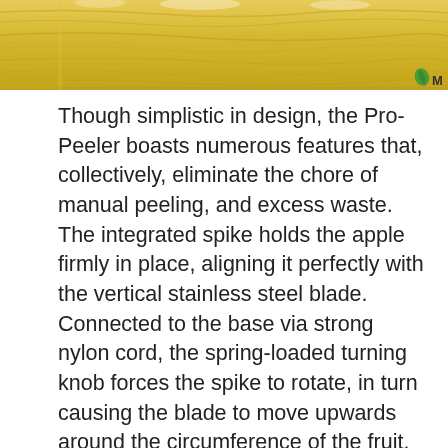[Figure (photo): Top portion of a wood-grain surface photo (yellow pine wood), partially cropped. A small green leaf logo and partial text 'M' visible in the bottom-right corner.]
Though simplistic in design, the Pro-Peeler boasts numerous features that, collectively, eliminate the chore of manual peeling, and excess waste. The integrated spike holds the apple firmly in place, aligning it perfectly with the vertical stainless steel blade. Connected to the base via strong nylon cord, the spring-loaded turning knob forces the spike to rotate, in turn causing the blade to move upwards around the circumference of the fruit. Designed to lightly graze the surface of the fruit, the blade removes only the skin – thus minimizing waste. Starfrit's bonus Corer Slicer is a welcome addition to the Pro-Peeler package. Constructed from the same quality stainless steel as the Pro-Peeler blade, it pierces through fruit effortlessly. Simply align with the center of the apple to be cored, and push down firmly. It's so easy